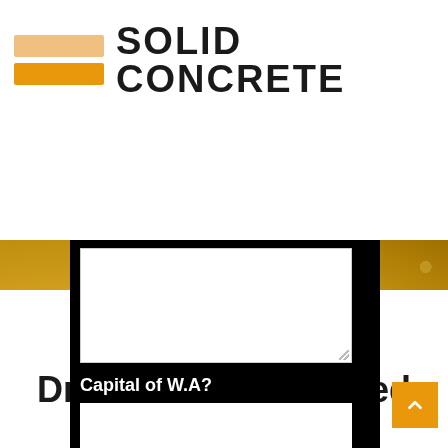[Figure (screenshot): Solid Concrete website header with logo (two horizontal bars in peach/orange beside 'SOLID CONCRETE' text) and hamburger menu icon in orange top-right]
[Figure (screenshot): Website form section on black background over aggregate/gravel texture: white textarea, 'Capital of W.A?' label, white text input, and orange 'SUBMIT FORM!' button]
Vast amount of Knowledge in Driveways & Exposed Aggregate